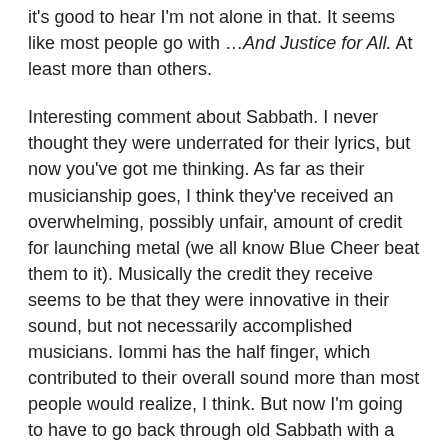it's good to hear I'm not alone in that. It seems like most people go with …And Justice for All. At least more than others.
Interesting comment about Sabbath. I never thought they were underrated for their lyrics, but now you've got me thinking. As far as their musicianship goes, I think they've received an overwhelming, possibly unfair, amount of credit for launching metal (we all know Blue Cheer beat them to it). Musically the credit they receive seems to be that they were innovative in their sound, but not necessarily accomplished musicians. Iommi has the half finger, which contributed to their overall sound more than most people would realize, I think. But now I'm going to have to go back through old Sabbath with a fresh pair of ears.
Thank you for choosing today's writing music for me!